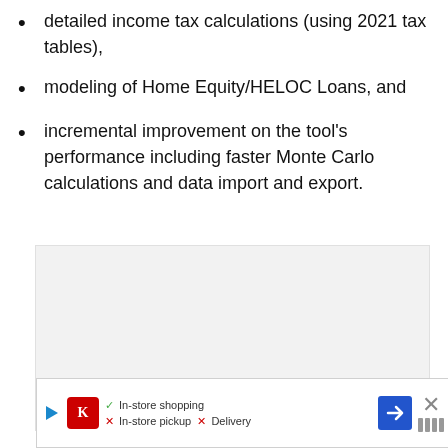detailed income tax calculations (using 2021 tax tables),
modeling of Home Equity/HELOC Loans, and
incremental improvement on the tool's performance including faster Monte Carlo calculations and data import and export.
[Figure (other): Gray advertisement placeholder box]